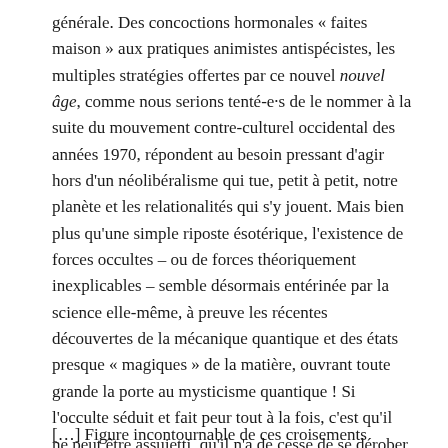générale. Des concoctions hormonales « faites maison » aux pratiques animistes antispécistes, les multiples stratégies offertes par ce nouvel nouvel âge, comme nous serions tenté-e·s de le nommer à la suite du mouvement contre-culturel occidental des années 1970, répondent au besoin pressant d'agir hors d'un néolibéralisme qui tue, petit à petit, notre planète et les relationalités qui s'y jouent. Mais bien plus qu'une simple riposte ésotérique, l'existence de forces occultes – ou de forces théoriquement inexplicables – semble désormais entérinée par la science elle-même, à preuve les récentes découvertes de la mécanique quantique et des états presque « magiques » de la matière, ouvrant toute grande la porte au mysticisme quantique ! Si l'occulte séduit et fait peur tout à la fois, c'est qu'il ne peut être assujetti, qu'il n'a de cesse de se dérober au sens commun.
[…] Figure incontournable de ces croisements